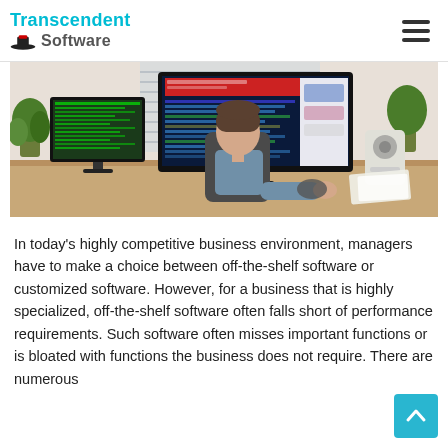Transcendent Software
[Figure (photo): Person sitting at a desk with multiple monitors displaying software/code, viewed from behind, in a modern office setup with plants and speakers.]
In today's highly competitive business environment, managers have to make a choice between off-the-shelf software or customized software. However, for a business that is highly specialized, off-the-shelf software often falls short of performance requirements. Such software often misses important functions or is bloated with functions the business does not require. There are numerous